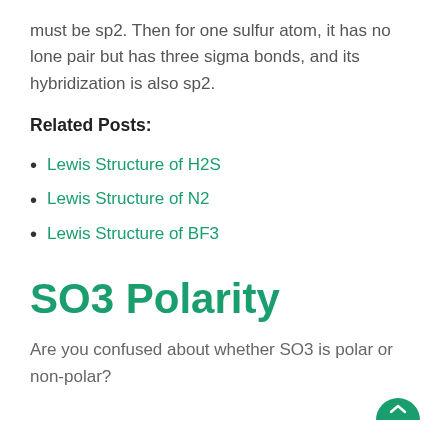must be sp2. Then for one sulfur atom, it has no lone pair but has three sigma bonds, and its hybridization is also sp2.
Related Posts:
Lewis Structure of H2S
Lewis Structure of N2
Lewis Structure of BF3
SO3 Polarity
Are you confused about whether SO3 is polar or non-polar?